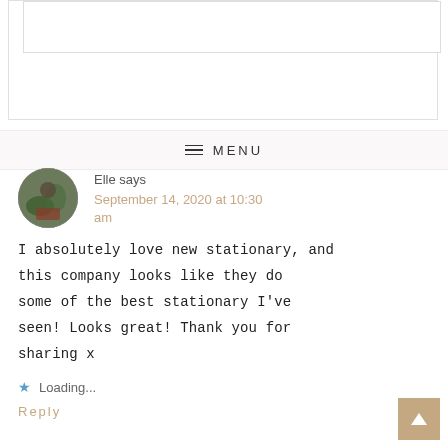[Figure (screenshot): Top portion of a blog comment form with a white input box and outer border visible at top of page]
MENU
Elle says
September 14, 2020 at 10:30 am
I absolutely love new stationary, and this company looks like they do some of the best stationary I've seen! Looks great! Thank you for sharing x
Loading...
Reply